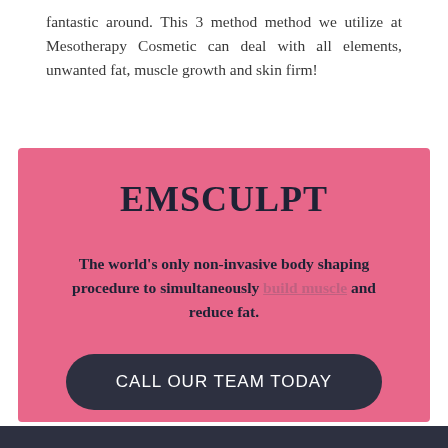fantastic around. This 3 method method we utilize at Mesotherapy Cosmetic can deal with all elements, unwanted fat, muscle growth and skin firm!
EMSCULPT
The world's only non-invasive body shaping procedure to simultaneously build muscle and reduce fat.
CALL OUR TEAM TODAY